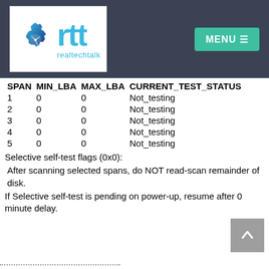[Figure (logo): realtechtalk (rtt) logo with a gear/circuit icon in blue and teal, on a dark navy header bar with a teal MENU button]
| SPAN | MIN_LBA | MAX_LBA | CURRENT_TEST_STATUS |
| --- | --- | --- | --- |
| 1 | 0 | 0 | Not_testing |
| 2 | 0 | 0 | Not_testing |
| 3 | 0 | 0 | Not_testing |
| 4 | 0 | 0 | Not_testing |
| 5 | 0 | 0 | Not_testing |
Selective self-test flags (0x0):
After scanning selected spans, do NOT read-scan remainder of disk.
If Selective self-test is pending on power-up, resume after 0 minute delay.